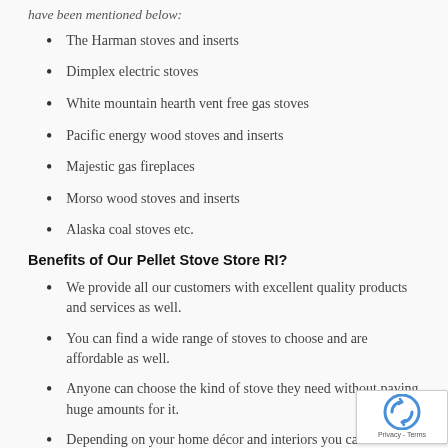have been mentioned below:
The Harman stoves and inserts
Dimplex electric stoves
White mountain hearth vent free gas stoves
Pacific energy wood stoves and inserts
Majestic gas fireplaces
Morso wood stoves and inserts
Alaska coal stoves etc.
Benefits of Our Pellet Stove Store RI?
We provide all our customers with excellent quality products and services as well.
You can find a wide range of stoves to choose and are affordable as well.
Anyone can choose the kind of stove they need without paying huge amounts for it.
Depending on your home décor and interiors you can choose the ones that would perfectly suit your home.